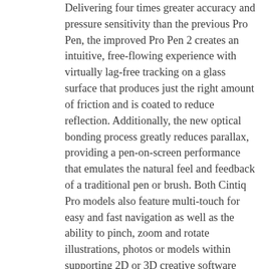Delivering four times greater accuracy and pressure sensitivity than the previous Pro Pen, the improved Pro Pen 2 creates an intuitive, free-flowing experience with virtually lag-free tracking on a glass surface that produces just the right amount of friction and is coated to reduce reflection. Additionally, the new optical bonding process greatly reduces parallax, providing a pen-on-screen performance that emulates the natural feel and feedback of a traditional pen or brush. Both Cintiq Pro models also feature multi-touch for easy and fast navigation as well as the ability to pinch, zoom and rotate illustrations, photos or models within supporting 2D or 3D creative software applications.
The Wacom Cintiq Pro enriches the creative workflow with its new modern, sleek and thin design, making it easy to slip into a laptop bag or backpack and move between working locations and computers. Both high resolution Cintiq Pro models come with an optimized edge-to-edge etched glass workspace for a creative platform that encourages bold pen and brush strokes.